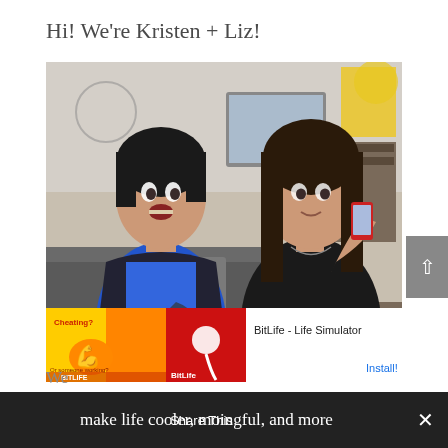Hi! We're Kristen + Liz!
[Figure (photo): Two women sitting together in an office/studio setting. The woman on the left has short dark hair and wears a blue top, appearing surprised or excited. The woman on the right has long dark hair and wears a black top, looking at her phone.]
We
make life cooler, more meaningful, and more
Share This